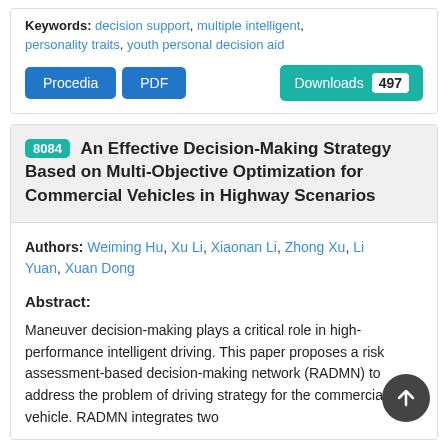Keywords: decision support, multiple intelligent, personality traits, youth personal decision aid
Procedia | PDF | Downloads 497
8084 An Effective Decision-Making Strategy Based on Multi-Objective Optimization for Commercial Vehicles in Highway Scenarios
Authors: Weiming Hu, Xu Li, Xiaonan Li, Zhong Xu, Li Yuan, Xuan Dong
Abstract:
Maneuver decision-making plays a critical role in high-performance intelligent driving. This paper proposes a risk assessment-based decision-making network (RADMN) to address the problem of driving strategy for the commercial vehicle. RADMN integrates two